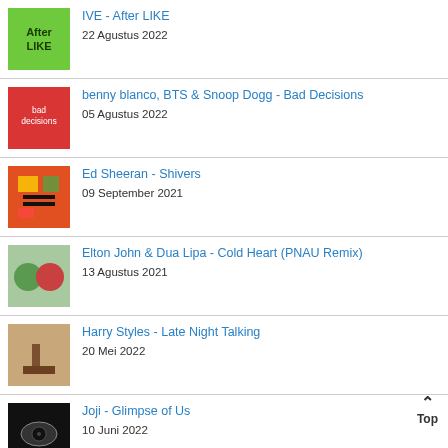IVE - After LIKE
22 Agustus 2022
benny blanco, BTS & Snoop Dogg - Bad Decisions
05 Agustus 2022
Ed Sheeran - Shivers
09 September 2021
Elton John & Dua Lipa - Cold Heart (PNAU Remix)
13 Agustus 2021
Harry Styles - Late Night Talking
20 Mei 2022
Joji - Glimpse of Us
10 Juni 2022
Lady Gaga - Hold My Hand